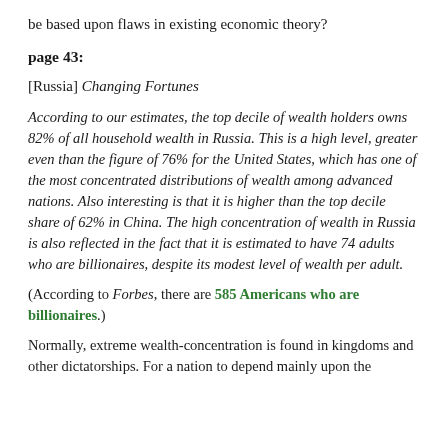be based upon flaws in existing economic theory?
page 43:
[Russia] Changing Fortunes
According to our estimates, the top decile of wealth holders owns 82% of all household wealth in Russia. This is a high level, greater even than the figure of 76% for the United States, which has one of the most concentrated distributions of wealth among advanced nations. Also interesting is that it is higher than the top decile share of 62% in China. The high concentration of wealth in Russia is also reflected in the fact that it is estimated to have 74 adults who are billionaires, despite its modest level of wealth per adult.
(According to Forbes, there are 585 Americans who are billionaires.)
Normally, extreme wealth-concentration is found in kingdoms and other dictatorships. For a nation to depend mainly upon the